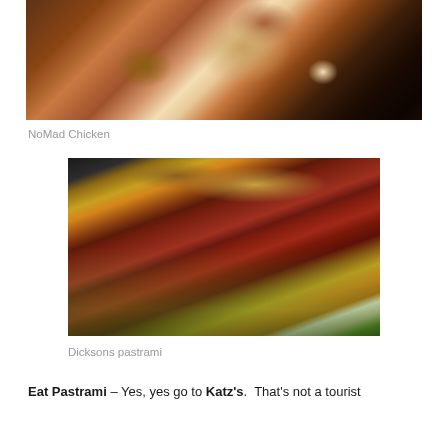[Figure (photo): Close-up photo of NoMad Chicken in a dark pan, showing a golden brown roasted chicken with melted cheese or filling visible, in a dark cast iron or similar dark pan with what appears to be a glass in the background.]
NoMad Chicken
[Figure (photo): Close-up photo of Dicksons pastrami sandwich on rye bread, showing thick layers of sliced pastrami meat between toasted rye bread slices, with a green pickle visible at the bottom right.]
Dicksons pastrami
Eat Pastrami – Yes, yes go to Katz's.  That's not a tourist